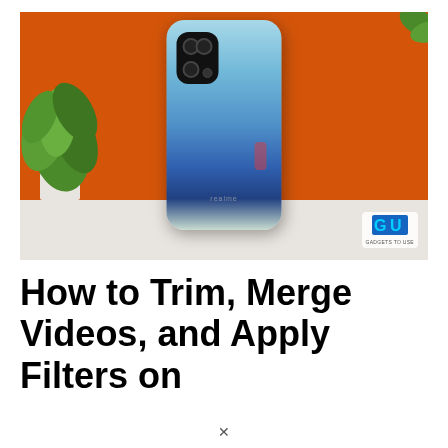[Figure (photo): Photo of a Realme smartphone (back view) in light blue/teal color gradient, placed on a white surface against an orange background with green plant on the left and plant leaves visible at top right. A 'GU Gadgets to Use' logo watermark is visible in the bottom right corner.]
How to Trim, Merge Videos, and Apply Filters on